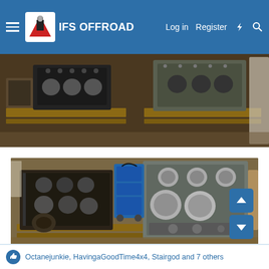IFS OFFROAD — Log in  Register
[Figure (photo): Top-down view of disassembled engine components including cylinder head blocks and crankshaft/camshaft parts on wooden pallets on a workbench]
[Figure (photo): Two engine blocks side by side on wooden pallets in a workshop; left block is older/dirty, right block is cleaned/machined with visible cylinders, blue tool cart in background]
Octanejunkie, HavingaGoodTime4x4, Stairgod and 7 others